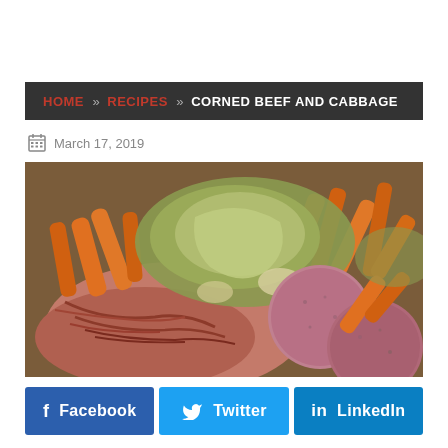HOME » RECIPES » CORNED BEEF AND CABBAGE
March 17, 2019
[Figure (photo): Close-up photo of corned beef and cabbage dish with carrots, cabbage leaves, red potatoes, and sliced corned beef meat.]
Facebook
Twitter
LinkedIn